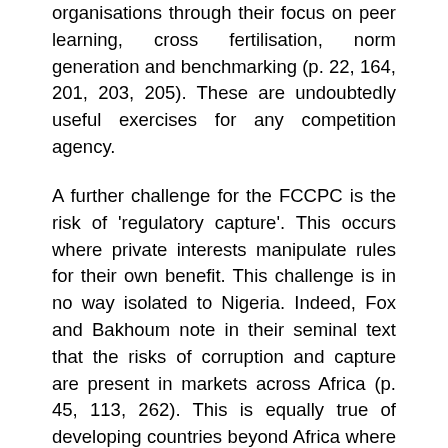organisations through their focus on peer learning, cross fertilisation, norm generation and benchmarking (p. 22, 164, 201, 203, 205). These are undoubtedly useful exercises for any competition agency.
A further challenge for the FCCPC is the risk of 'regulatory capture'. This occurs where private interests manipulate rules for their own benefit. This challenge is in no way isolated to Nigeria. Indeed, Fox and Bakhoum note in their seminal text that the risks of corruption and capture are present in markets across Africa (p. 45, 113, 262). This is equally true of developing countries beyond Africa where organised private interests have often entrenched their monopoly strongholds by influencing the design and administration of competition policy. In addressing the risks of